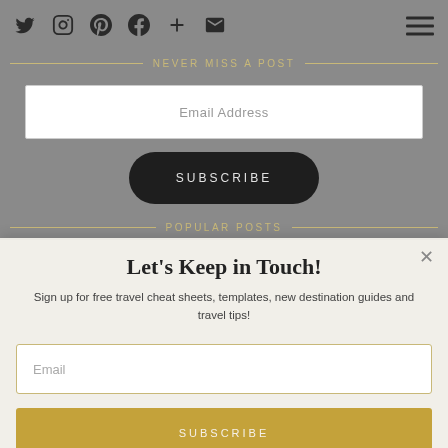Social media icons nav bar with Twitter, Instagram, Pinterest, Facebook, Plus, Email icons and hamburger menu
NEVER MISS A POST
Email Address
SUBSCRIBE
POPULAR POSTS
Let's Keep in Touch!
Sign up for free travel cheat sheets, templates, new destination guides and travel tips!
Email
SUBSCRIBE